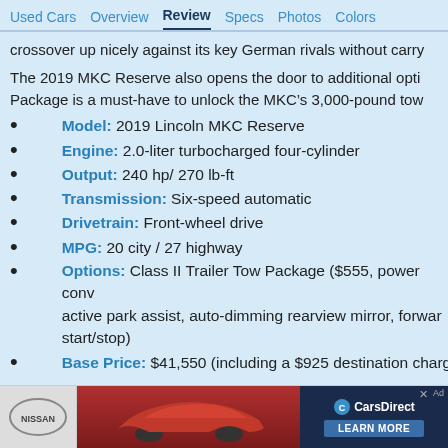Used Cars   Overview   Review   Specs   Photos   Colors
crossover up nicely against its key German rivals without carry
The 2019 MKC Reserve also opens the door to additional opti Package is a must-have to unlock the MKC’s 3,000-pound tow
Model: 2019 Lincoln MKC Reserve
Engine: 2.0-liter turbocharged four-cylinder
Output: 240 hp/ 270 lb-ft
Transmission: Six-speed automatic
Drivetrain: Front-wheel drive
MPG: 20 city / 27 highway
Options: Class II Trailer Tow Package ($555, power conv active park assist, auto-dimming rearview mirror, forwar start/stop)
Base Price: $41,550 (including a $925 destination charg
[Figure (advertisement): Nissan advertisement banner with CarsDirect logo and Learn More button]